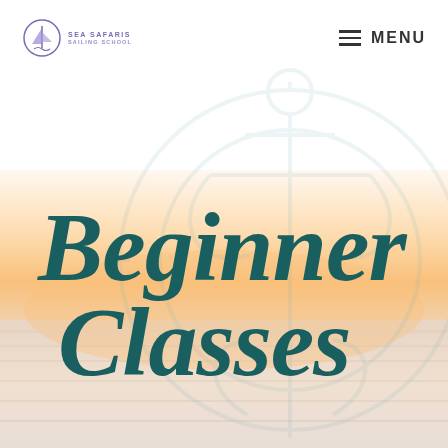[Figure (illustration): Website screenshot of Sea Safaris Sailing School page. Top navigation bar with purple anchor/sailboat logo and 'SEA SAFARIS SAILING SCHOOL' text on left, hamburger menu icon and 'MENU' text on right. Background shows a scenic waterfront photo with warm golden-peach tones and a large faded anchor/compass watermark overlay. Large decorative script text reads 'Beginner Classes' in dark teal color over the background.]
Beginner Classes